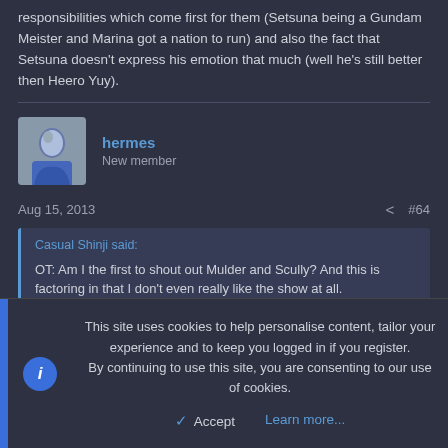responsibilities which come first for them (Setsuna being a Gundam Meister and Marina got a nation to run) and also the fact that Setsuna doesn't express his emotion that much (well he's still better then Heero Yuy).
hermes
New member
Aug 15, 2013  #64
Casual Shinji said:
OT: Am I the first to shout out Mulder and Scully? And this is factoring in that I don't even really like the show at all.
This site uses cookies to help personalise content, tailor your experience and to keep you logged in if you register.
By continuing to use this site, you are consenting to our use of cookies.
Accept  Learn more...